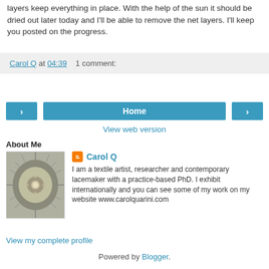layers keep everything in place. With the help of the sun it should be dried out later today and I'll be able to remove the net layers. I'll keep you posted on the progress.
Carol Q at 04:39   1 comment:
‹   Home   ›
View web version
About Me
[Figure (photo): Profile photo of Carol Q showing a close-up of a textile or lace artwork with spiny/fibrous texture]
Carol Q
I am a textile artist, researcher and contemporary lacemaker with a practice-based PhD. I exhibit internationally and you can see some of my work on my website www.carolquarini.com
View my complete profile
Powered by Blogger.